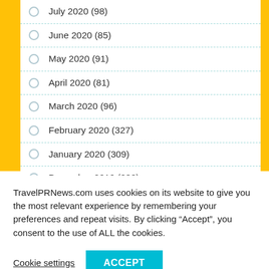July 2020 (98)
June 2020 (85)
May 2020 (91)
April 2020 (81)
March 2020 (96)
February 2020 (327)
January 2020 (309)
December 2019 (232)
November 2019 (306)
TravelPRNews.com uses cookies on its website to give you the most relevant experience by remembering your preferences and repeat visits. By clicking “Accept”, you consent to the use of ALL the cookies.
Cookie settings | ACCEPT